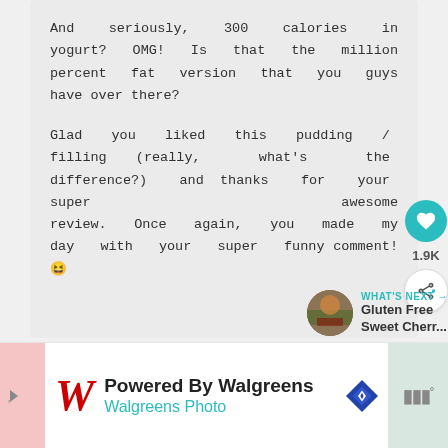And seriously, 300 calories in yogurt? OMG! Is that the million percent fat version that you guys have over there?

Glad you liked this pudding / filling (really, what's the difference?) and thanks for your super awesome review. Once again, you made my day with your super funny comment! 😄
[Figure (other): What's Next arrow link with thumbnail image for Gluten Free Sweet Cherr...]
[Figure (other): Powered By Walgreens / Walgreens Photo advertisement banner with Walgreens logo, red cursive W, blue diamond navigation icon, and gray brand icon]